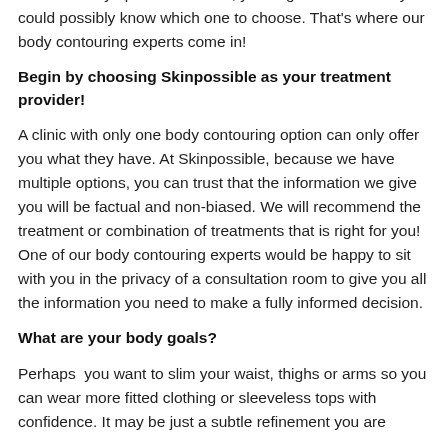With so many options available, you might wonder how you could possibly know which one to choose. That's where our body contouring experts come in!
Begin by choosing Skinpossible as your treatment provider!
A clinic with only one body contouring option can only offer you what they have. At Skinpossible, because we have multiple options, you can trust that the information we give you will be factual and non-biased. We will recommend the treatment or combination of treatments that is right for you! One of our body contouring experts would be happy to sit with you in the privacy of a consultation room to give you all the information you need to make a fully informed decision.
What are your body goals?
Perhaps  you want to slim your waist, thighs or arms so you can wear more fitted clothing or sleeveless tops with confidence. It may be just a subtle refinement you are